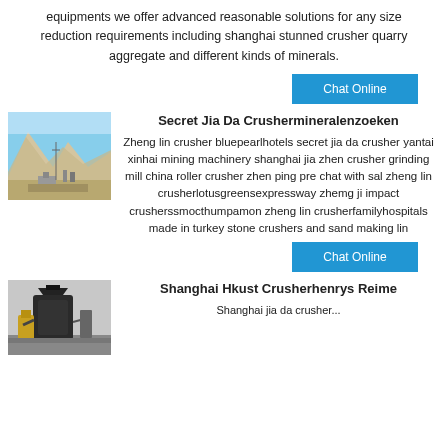equipments we offer advanced reasonable solutions for any size reduction requirements including shanghai stunned crusher quarry aggregate and different kinds of minerals.
Chat Online
[Figure (photo): Quarry site with mountains in the background and construction machinery]
Secret Jia Da Crushermineralenzoeken
Zheng lin crusher bluepearlhotels secret jia da crusher yantai xinhai mining machinery shanghai jia zhen crusher grinding mill china roller crusher zhen ping pre chat with sal zheng lin crusherlotusgreensexpressway zhemg ji impact crusherssmocthumpamon zheng lin crusherfamilyhospitals made in turkey stone crushers and sand making lin
Chat Online
[Figure (photo): Large industrial crusher machinery in outdoor setting]
Shanghai Hkust Crusherhenrys Reime
Shanghai jia da crusher...